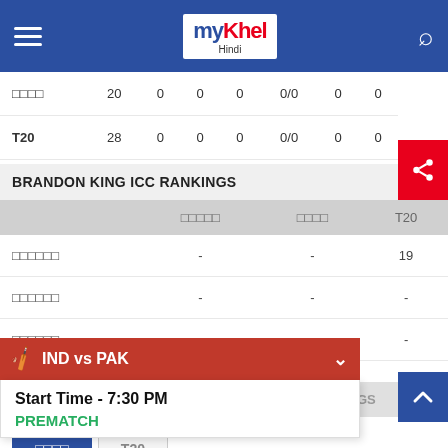myKhel Hindi
|  |  | 20/28 | 0 | 0 | 0 | 0/0 | 0 | 0 |
| --- | --- | --- | --- | --- | --- | --- | --- | --- |
| □□□□ | 20 | 0 | 0 | 0 | 0/0 | 0 | 0 |
| T20 | 28 | 0 | 0 | 0 | 0/0 | 0 | 0 |
BRANDON KING ICC RANKINGS
|  | □□□□□ | □□□□ | T20 |
| --- | --- | --- | --- |
| □□□□□□ | - | - | 19 |
| □□□□□□ | - | - | - |
| □□□□□□ | - | - | - |
BRANDON KING'S LAST 10 INNINGS
□□□□ | T20
LAST 10 INNINGS
IND vs PAK — Start Time - 7:30 PM — PREMATCH